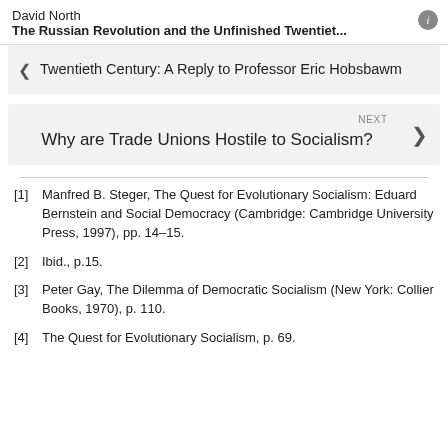David North
The Russian Revolution and the Unfinished Twentiet...
Twentieth Century: A Reply to Professor Eric Hobsbawm
NEXT
Why are Trade Unions Hostile to Socialism?
[1] Manfred B. Steger, The Quest for Evolutionary Socialism: Eduard Bernstein and Social Democracy (Cambridge: Cambridge University Press, 1997), pp. 14–15.
[2] Ibid., p.15.
[3] Peter Gay, The Dilemma of Democratic Socialism (New York: Collier Books, 1970), p. 110.
[4] The Quest for Evolutionary Socialism, p. 69.